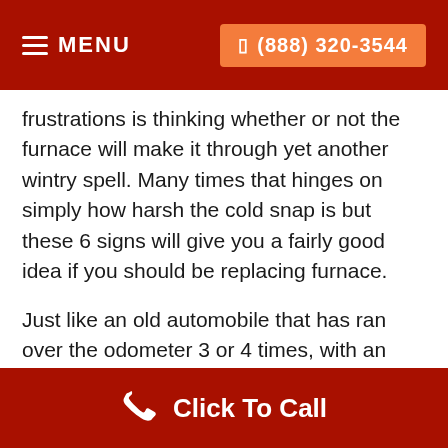MENU  (888) 320-3544
frustrations is thinking whether or not the furnace will make it through yet another wintry spell. Many times that hinges on simply how harsh the cold snap is but these 6 signs will give you a fairly good idea if you should be replacing furnace.
Just like an old automobile that has ran over the odometer 3 or 4 times, with an older furnace you recognize you're on borrowed time. It really is a hit or miss game with these devices, many people find themselves replacing a furnace before the
Click To Call